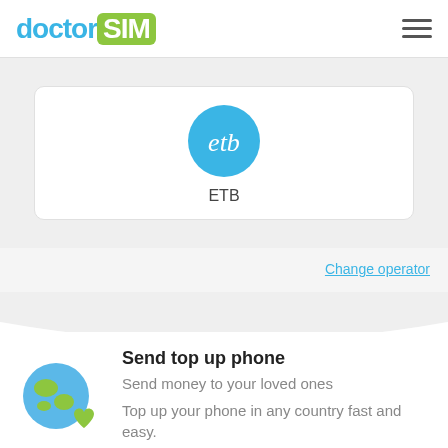[Figure (logo): doctorSIM logo — 'doctor' in blue, 'SIM' in white on green rounded rectangle background]
[Figure (logo): ETB operator logo — white 'etb' text on teal/blue circular background]
ETB
Change operator
Send top up phone
Send money to your loved ones
Top up your phone in any country fast and easy.